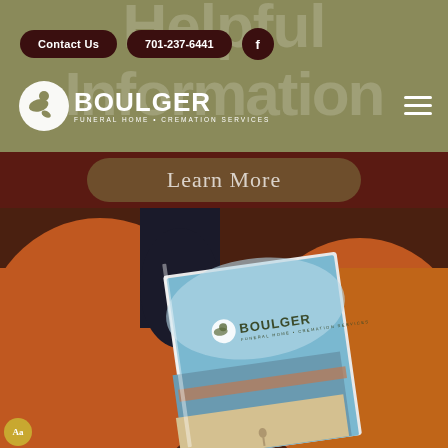Helpful Information
[Figure (screenshot): Boulger Funeral Home website header screenshot with navigation buttons (Contact Us, 701-237-6441, Facebook icon), Boulger logo, and hamburger menu on olive-green background with faded 'Helpful Information' text]
Learn More
[Figure (photo): Person in orange/brown leather jacket holding a Boulger Funeral Home brochure/booklet with blue sky and horizon on the cover]